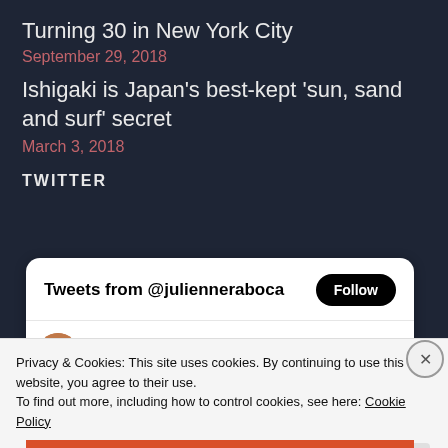Turning 30 in New York City
September 29, 2018
Ishigaki is Japan's best-kept 'sun, sand and surf' secret
March 3, 2018
TWITTER
[Figure (screenshot): Twitter widget showing 'Tweets from @julienneraboca' with a Follow button and a tweet from Yeni R @julienneraboca · 1h with Twitter bird icon]
Privacy & Cookies: This site uses cookies. By continuing to use this website, you agree to their use.
To find out more, including how to control cookies, see here: Cookie Policy
Close and accept